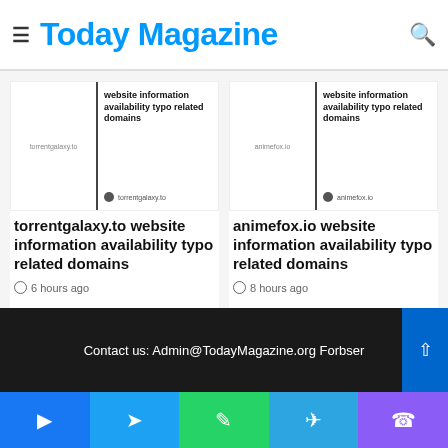Today Magazine
[Figure (screenshot): Article card thumbnail for torrentgalaxy.to showing website information availability typo related domains]
torrentgalaxy.to website information availability typo related domains
6 hours ago
[Figure (screenshot): Article card thumbnail for animefox.io showing website information availability typo related domains]
animefox.io website information availability typo related domains
8 hours ago
Contact us: Admin@TodayMagazine.org Forbser